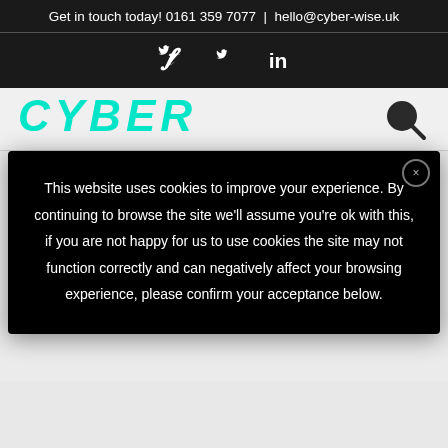Get in touch today! 0161 359 7077 | hello@cyber-wise.uk
[Figure (other): Social media icons: Twitter (bird icon) and LinkedIn (in icon) on dark background]
[Figure (logo): CYBER logo in teal/cyan italic bold text with a search icon on dark nav bar]
This website uses cookies to improve your experience. By continuing to browse the site we'll assume you're ok with this, if you are not happy for us to use cookies the site may not function correctly and can negatively affect your browsing experience, please confirm your acceptance below.